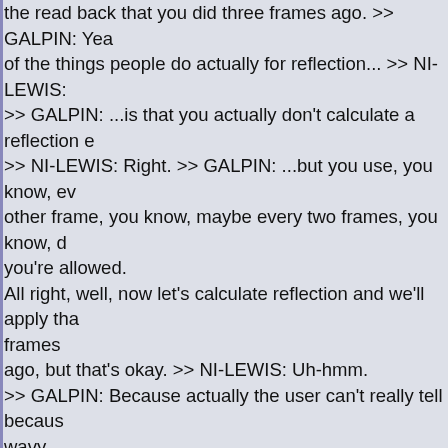the read back that you did three frames ago. >> GALPIN: Yea of the things people do actually for reflection... >> NI-LEWIS: >> GALPIN: ...is that you actually don't calculate a reflection e >> NI-LEWIS: Right. >> GALPIN: ...but you use, you know, ev other frame, you know, maybe every two frames, you know, d you're allowed. All right, well, now let's calculate reflection and we'll apply tha frames ago, but that's okay. >> NI-LEWIS: Uh-hmm. >> GALPIN: Because actually the user can't really tell becaus wavy meshy thing and... >> NI-LEWIS: Right, right. >> GALPIN: And... >> NI-LEWIS: Yeah, and a lot of it depend of course on who is doing the read back. >> GALPIN: Yeah. >> NI-LEWIS: I mean, because the problem is that the GPU i of that texture from the point that a draw call involving it had sub >> GALPIN: uh-hmm. >> NI-LEWIS: ...point where it retires. >> GALPIN: Yeah. >> NI-LEWIS: So, that's actually a huge le of time that the GPU is not in fact using the texture. >> GALPIN: Absolutely. >> NI-LEWIS: And in fact most of the